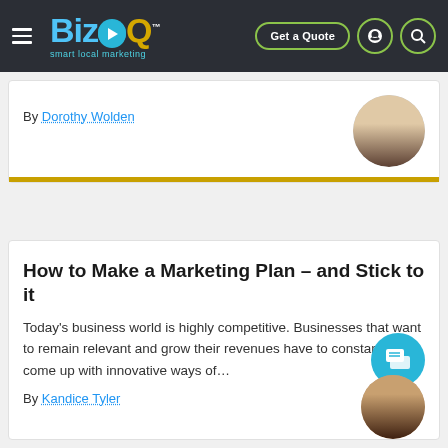BizIQ smart local marketing | Get a Quote
By Dorothy Wolden
How to Make a Marketing Plan – and Stick to it
Today's business world is highly competitive. Businesses that want to remain relevant and grow their revenues have to constantly come up with innovative ways of…
By Kandice Tyler